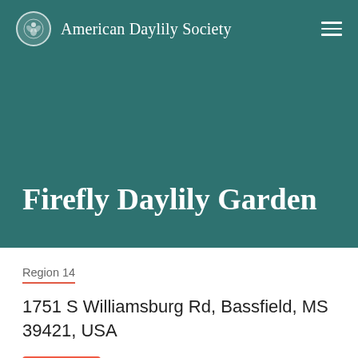American Daylily Society
Firefly Daylily Garden
Region 14
1751 S Williamsburg Rd, Bassfield, MS 39421, USA
Directions